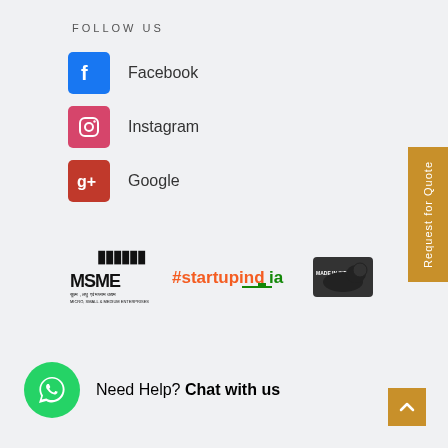FOLLOW US
Facebook
Instagram
Google
[Figure (logo): MSME, #startupindia, and Made in India logos]
Need Help? Chat with us